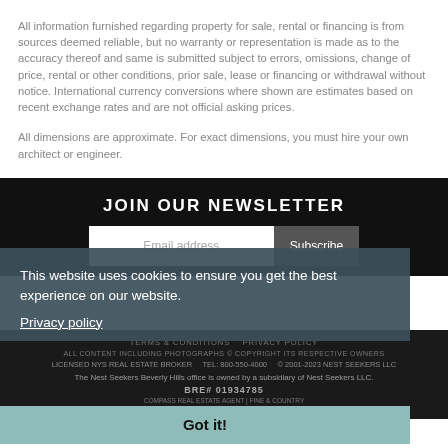All information furnished regarding property for sale, rental or financing is from sources deemed reliable, but no warranty or representation is made as to the accuracy thereof and same is submitted subject to errors, omissions, change of price, rental or other conditions, prior sale, lease or financing or withdrawal without notice. International currency conversions where shown are estimates based on recent exchange rates and are not official asking prices.
All dimensions are approximate. For exact dimensions, you must hire your own architect or engineer.
JOIN OUR NEWSLETTER
This website uses cookies to ensure you get the best experience on our website.
Privacy policy
The Nest Seekers Beverly Hills office is owned by a subsidiary of Nest Seekers LLC. BRE# 01934785
Got it!